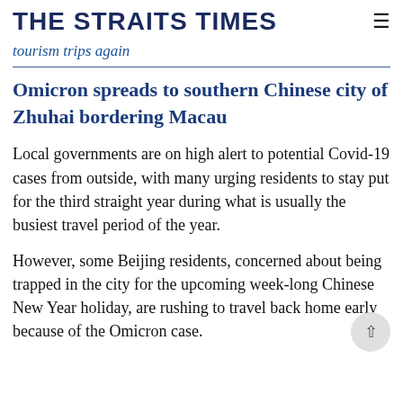THE STRAITS TIMES
tourism trips again
Omicron spreads to southern Chinese city of Zhuhai bordering Macau
Local governments are on high alert to potential Covid-19 cases from outside, with many urging residents to stay put for the third straight year during what is usually the busiest travel period of the year.
However, some Beijing residents, concerned about being trapped in the city for the upcoming week-long Chinese New Year holiday, are rushing to travel back home early because of the Omicron case.